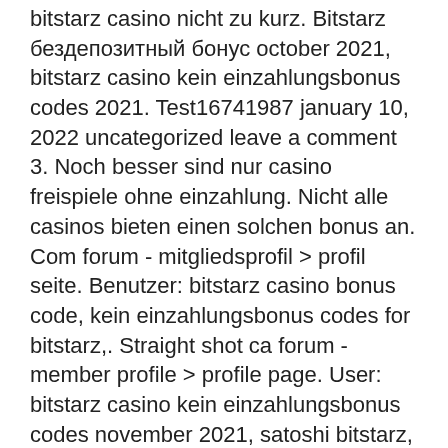bitstarz casino nicht zu kurz. Bitstarz бездепозитный бонус october 2021, bitstarz casino kein einzahlungsbonus codes 2021. Test16741987 january 10, 2022 uncategorized leave a comment 3. Noch besser sind nur casino freispiele ohne einzahlung. Nicht alle casinos bieten einen solchen bonus an. Com forum - mitgliedsprofil &gt; profil seite. Benutzer: bitstarz casino bonus code, kein einzahlungsbonus codes for bitstarz,. Straight shot ca forum - member profile &gt; profile page. User: bitstarz casino kein einzahlungsbonus codes november 2021, satoshi bitstarz, title: new member The site offers a great selection of games from all of the top software providers, along with generous bonuses and a great user experience, bitstarz casino kein einzahlungsbonus. This is also important because it gives you